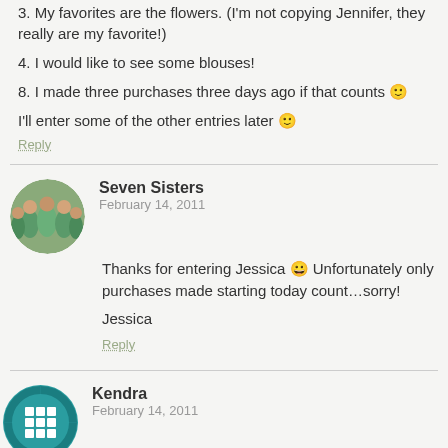3. My favorites are the flowers. (I'm not copying Jennifer, they really are my favorite!)
4. I would like to see some blouses!
8. I made three purchases three days ago if that counts 🙂
I'll enter some of the other entries later 🙂
Reply
Seven Sisters
February 14, 2011
Thanks for entering Jessica 😀 Unfortunately only purchases made starting today count…sorry!
Jessica
Reply
Kendra
February 14, 2011
1. I'd love to enter! I really like the stationary in your shop.